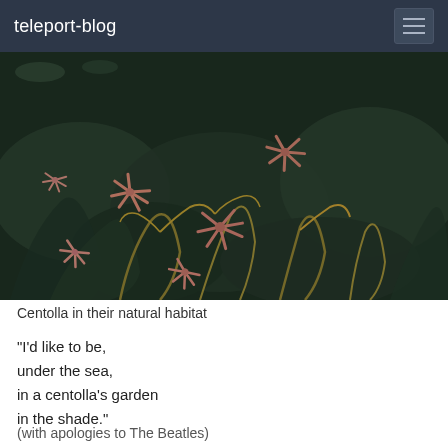teleport-blog
[Figure (photo): Underwater photo of centolla (king crabs) with pink/orange coloring among dark kelp and seaweed in their natural ocean habitat]
Centolla in their natural habitat
"I'd like to be,
under the sea,
in a centolla's garden
in the shade."
(with apologies to The Beatles)